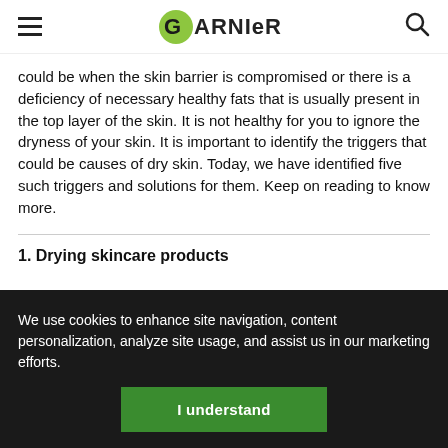GARNIER
could be when the skin barrier is compromised or there is a deficiency of necessary healthy fats that is usually present in the top layer of the skin. It is not healthy for you to ignore the dryness of your skin. It is important to identify the triggers that could be causes of dry skin. Today, we have identified five such triggers and solutions for them. Keep on reading to know more.
1. Drying skincare products
We use cookies to enhance site navigation, content personalization, analyze site usage, and assist us in our marketing efforts.